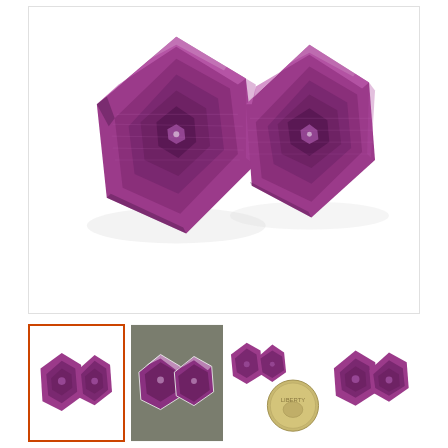[Figure (photo): Two hexagonal faceted purple/pink sapphire or ruby gemstone slices shown face-up side by side on a white background. Both stones display concentric hexagonal growth patterns and a central hexagonal inclusion. The stones appear to be a matching pair with violet-purple coloring.]
[Figure (photo): Thumbnail 1 (selected/active): Same two purple hexagonal gemstones, smaller view, orange border indicating selection.]
[Figure (photo): Thumbnail 2: Two hexagonal purple gemstones shown on gray-green background.]
[Figure (photo): Thumbnail 3: Two hexagonal purple gemstones shown with a US coin for size reference on white background.]
[Figure (photo): Thumbnail 4: Two hexagonal purple gemstones shown face-up on white background, slightly different angle.]